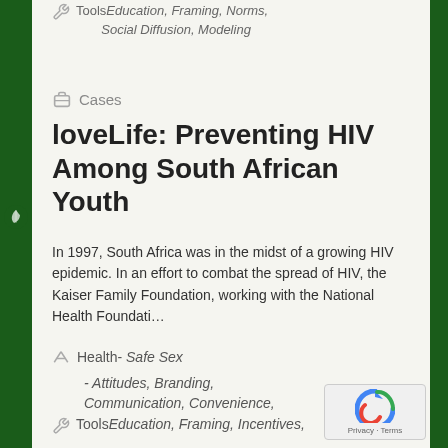Tools: Education, Framing, Norms, Social Diffusion, Modeling
Cases
loveLife: Preventing HIV Among South African Youth
In 1997, South Africa was in the midst of a growing HIV epidemic. In an effort to combat the spread of HIV, the Kaiser Family Foundation, working with the National Health Foundati...
Health- Safe Sex
- Attitudes, Branding, Communication, Convenience,
Tools: Education, Framing, Incentives,